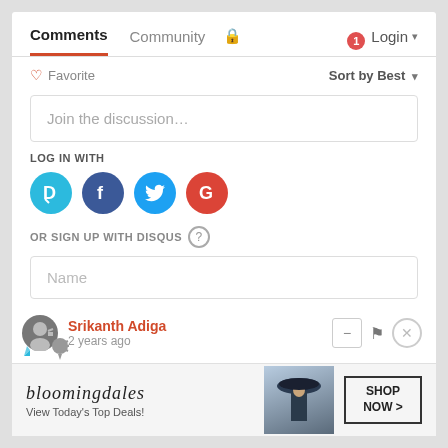Comments  Community  🔒  1  Login
♡ Favorite    Sort by Best ▾
Join the discussion...
LOG IN WITH
[Figure (illustration): Four social login icons: Disqus (blue D), Facebook (dark blue f), Twitter (light blue bird), Google (red G)]
OR SIGN UP WITH DISQUS ?
Name
Srikanth Adiga
2 years ago
[Figure (illustration): Bloomingdale's advertisement banner: brand name, View Today's Top Deals!, woman in hat, SHOP NOW > button]